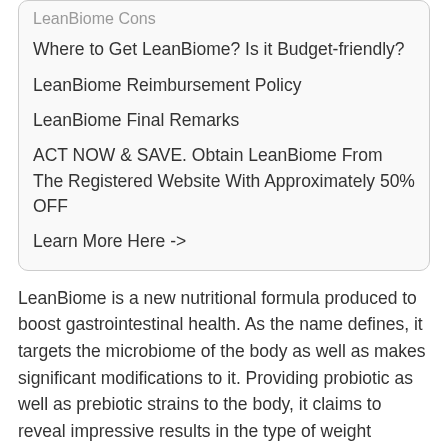LeanBiome Cons
Where to Get LeanBiome? Is it Budget-friendly?
LeanBiome Reimbursement Policy
LeanBiome Final Remarks
ACT NOW & SAVE. Obtain LeanBiome From The Registered Website With Approximately 50% OFF
Learn More Here ->
LeanBiome is a new nutritional formula produced to boost gastrointestinal health. As the name defines, it targets the microbiome of the body as well as makes significant modifications to it. Providing probiotic as well as prebiotic strains to the body, it claims to reveal impressive results in the type of weight management complaints about leanbiome.